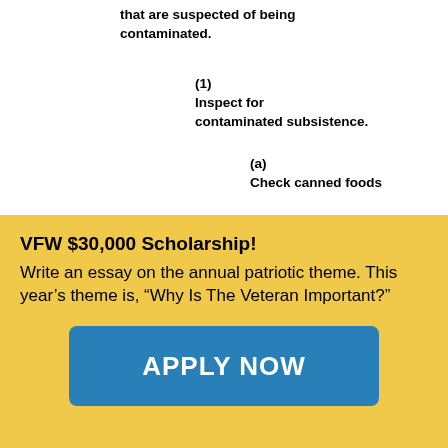that are suspected of being contaminated.
(1)
Inspect for contaminated subsistence.
(a)
Check canned foods
VFW $30,000 Scholarship! Write an essay on the annual patriotic theme. This year's theme is, “Why Is The Veteran Important?”
[Figure (other): Blue button with text APPLY NOW]